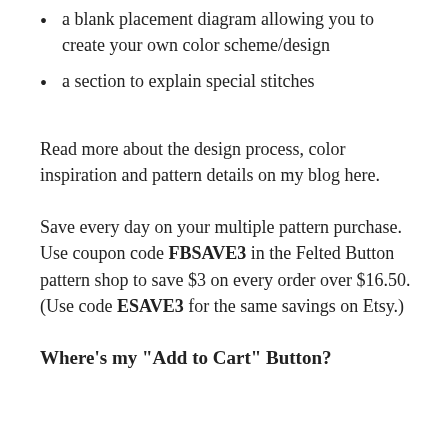a blank placement diagram allowing you to create your own color scheme/design
a section to explain special stitches
Read more about the design process, color inspiration and pattern details on my blog here.
Save every day on your multiple pattern purchase. Use coupon code FBSAVE3 in the Felted Button pattern shop to save $3 on every order over $16.50. (Use code ESAVE3 for the same savings on Etsy.)
Where's my "Add to Cart" Button?